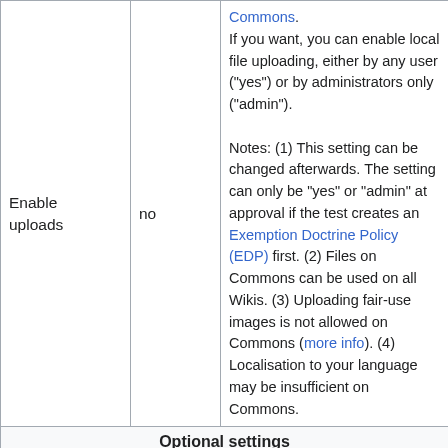| Setting | Default | Description |
| --- | --- | --- |
| Enable uploads | no | Commons.
If you want, you can enable local file uploading, either by any user ("yes") or by administrators only ("admin").
Notes: (1) This setting can be changed afterwards. The setting can only be "yes" or "admin" at approval if the test creates an Exemption Doctrine Policy (EDP) first. (2) Files on Commons can be used on all Wikis. (3) Uploading fair-use images is not allowed on Commons (more info). (4) Localisation to your language may be insufficient on Commons. |
| Optional settings |  |  |